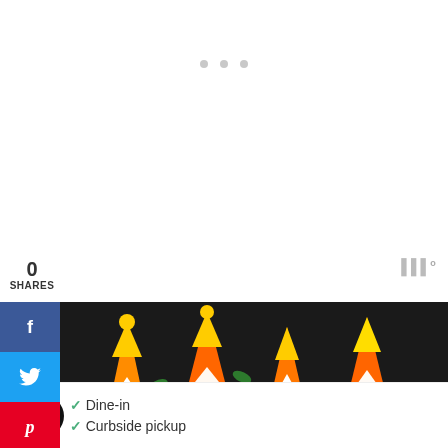[Figure (other): Three grey loading dots/ellipsis indicator at top center of page]
0
SHARES
[Figure (photo): Close-up photo of candy corn pieces and eggs being separated into a glass bowl, with Halloween-themed fabric in background]
[Figure (infographic): Social sharing sidebar with Facebook (blue), Twitter (light blue), Pinterest (red), and Email (green) buttons]
[Figure (infographic): Right side widget showing bar/menu icon with superscript, heart button (green circle), count of 1, and share button]
WHAT'S NEXT →
A Repurposed Antique...
Dine-in
Curbside pickup
[Figure (infographic): Bottom right close X button and bars widget icon]